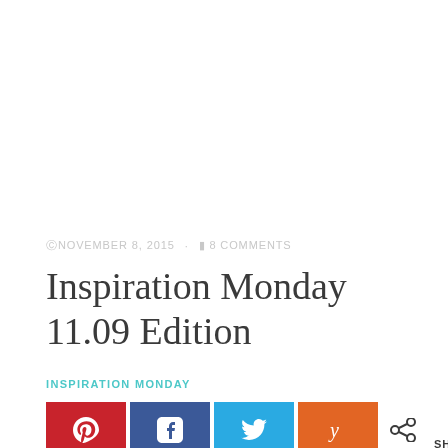©NOVEMBER 8, 2015 · ▪ 8 COMMENTS
Inspiration Monday 11.09 Edition
INSPIRATION MONDAY
[Figure (infographic): Social share buttons: Pinterest (red), Facebook (dark blue), Twitter (light blue), Yummly (orange), plus a generic share icon, and a share count showing 4 SHARES]